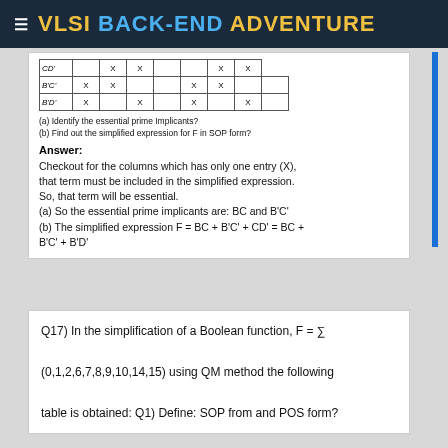VLSI BACK-END ADVENTURE
|  |  |  |  |  |  |  |  |  |
| --- | --- | --- | --- | --- | --- | --- | --- | --- |
| CD' |  | X | X |  |  | X | X |
| B'C' | X | X |  |  | X | X |  |  |
| B'D' | X |  | X |  | X |  | X |  |
(a) Identify the essential prime Implicants?
(b) Find out the simplified expression for F in SOP form?
Answer:
Checkout for the columns which has only one entry (X), that term must be included in the simplified expression. So, that term will be essential.
(a) So the essential prime implicants are: BC and B'C'
(b) The simplified expression F = BC + B'C' + CD' = BC + B'C' + B'D'
Q17) In the simplification of a Boolean function, F = Σ (0,1,2,6,7,8,9,10,14,15) using QM method the following table is obtained: Q1) Define: SOP from and POS form?